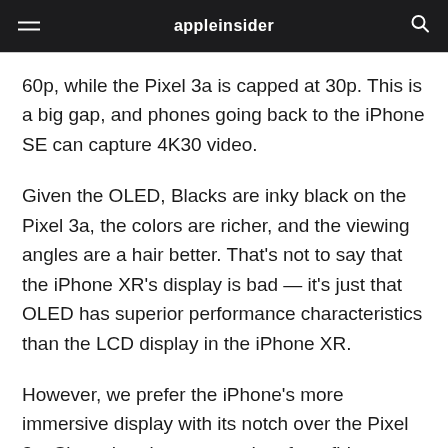appleinsider
60p, while the Pixel 3a is capped at 30p. This is a big gap, and phones going back to the iPhone SE can capture 4K30 video.
Given the OLED, Blacks are inky black on the Pixel 3a, the colors are richer, and the viewing angles are a hair better. That's not to say that the iPhone XR's display is bad — it's just that OLED has superior performance characteristics than the LCD display in the iPhone XR.
However, we prefer the iPhone's more immersive display with its notch over the Pixel 3a. Since there's no secondary front firing speaker on the